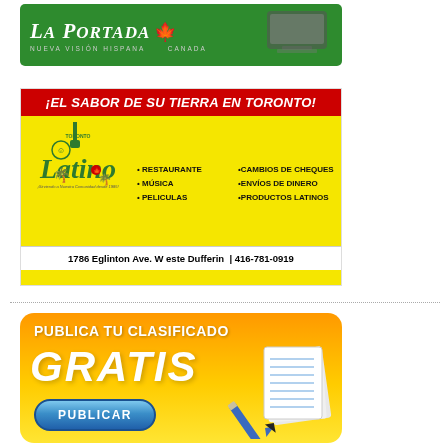[Figure (logo): La Portada Canada green banner advertisement with white italic text and maple leaf icon]
[Figure (infographic): Toronto Latino advertisement on yellow background with red header '¡EL SABOR DE SU TIERRA EN TORONTO!', services listed: RESTAURANTE, CAMBIOS DE CHEQUES, MÚSICA, ENVÍOS DE DINERO, PELICULAS, PRODUCTOS LATINOS, address: 1786 Eglinton Ave. W este Dufferin | 416-781-0919]
[Figure (infographic): Publica Tu Clasificado Gratis orange/yellow ad banner with PUBLICAR blue button and pen/notepad illustration]